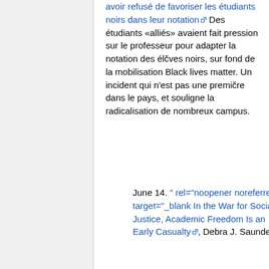avoir refusé de favoriser les étudiants noirs dans leur notation Des étudiants «alliés» avaient fait pression sur le professeur pour adapter la notation des élčves noirs, sur fond de la mobilisation Black lives matter. Un incident qui n'est pas une premičre dans le pays, et souligne la radicalisation de nombreux campus.
June 14. " rel="noopener noreferrer" target="_blank In the War for Social Justice, Academic Freedom Is an Early Casualty, Debra J. Saunders